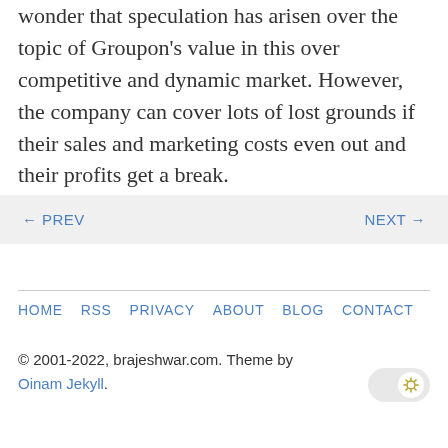wonder that speculation has arisen over the topic of Groupon's value in this over competitive and dynamic market. However, the company can cover lots of lost grounds if their sales and marketing costs even out and their profits get a break.
← PREV   NEXT →
HOME  RSS  PRIVACY  ABOUT  BLOG  CONTACT
© 2001-2022, brajeshwar.com. Theme by Oinam Jekyll.